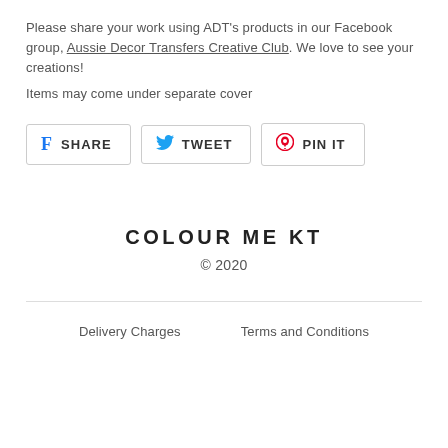Please share your work using ADT's products in our Facebook group, Aussie Decor Transfers Creative Club. We love to see your creations!
Items may come under separate cover
[Figure (infographic): Three social sharing buttons: Facebook SHARE, Twitter TWEET, Pinterest PIN IT]
COLOUR ME KT
© 2020
Delivery Charges   Terms and Conditions